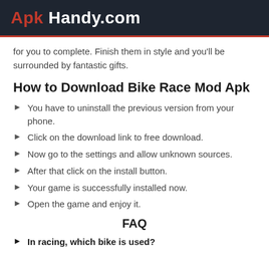Apk Handy.com
for you to complete. Finish them in style and you'll be surrounded by fantastic gifts.
How to Download Bike Race Mod Apk
You have to uninstall the previous version from your phone.
Click on the download link to free download.
Now go to the settings and allow unknown sources.
After that click on the install button.
Your game is successfully installed now.
Open the game and enjoy it.
FAQ
In racing, which bike is used?